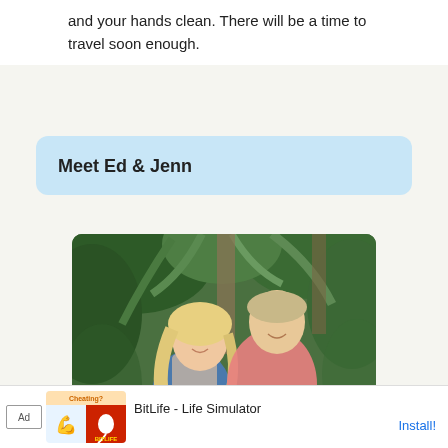and your hands clean. There will be a time to travel soon enough.
Meet Ed & Jenn
[Figure (photo): A couple (a woman with blonde hair wearing a blue top and a man wearing a pink shirt) standing together in front of tropical green foliage and palm trees]
[Figure (other): Advertisement banner: BitLife - Life Simulator app ad with Install button]